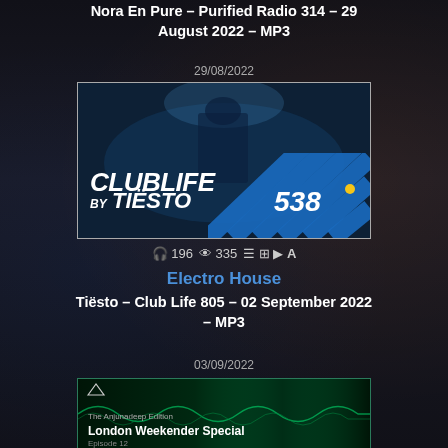Nora En Pure – Purified Radio 314 – 29 August 2022 – MP3
29/08/2022
[Figure (photo): Club Life by Tiësto Radio 538 promotional banner image showing DJ silhouette with crowd, diagonal blue stripes with 538 logo]
196  335
Electro House
Tiësto – Club Life 805 – 02 September 2022 – MP3
03/09/2022
[Figure (photo): Anjunadeep London Weekender Special promotional banner with green tinted image of DJ equipment and crowd, Episode 12]